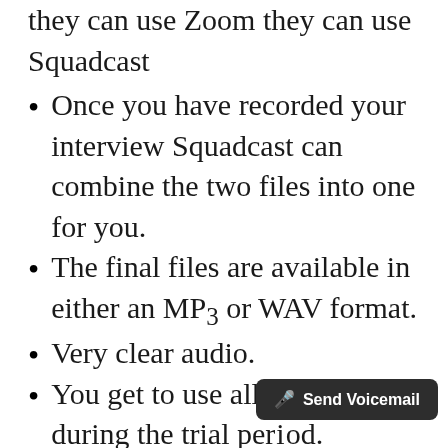they can use Zoom they can use Squadcast
Once you have recorded your interview Squadcast can combine the two files into one for you.
The final files are available in either an MP3 or WAV format.
Very clear audio.
You get to use all the features during the trial period.
If you are about to run over...